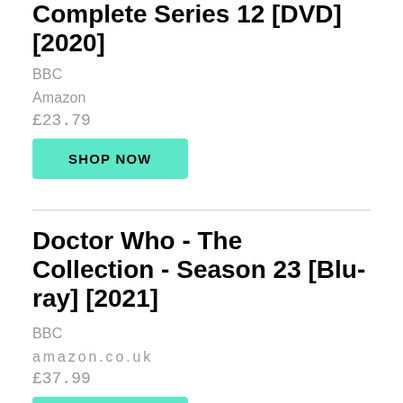Complete Series 12 [DVD] [2020]
BBC
Amazon
£23.79
SHOP NOW
Doctor Who - The Collection - Season 23 [Blu-ray] [2021]
BBC
amazon.co.uk
£37.99
SHOP NOW
The Ruby's Curse (A River Song / Melody Malone